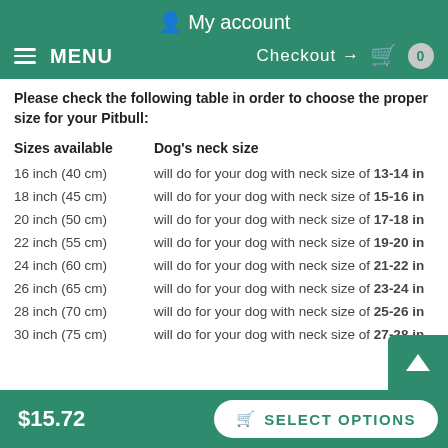My account
MENU  Checkout → 0
Please check the following table in order to choose the proper size for your Pitbull:
| Sizes available | Dog's neck size |
| --- | --- |
| 16 inch (40 cm) | will do for your dog with neck size of 13-14 in |
| 18 inch (45 cm) | will do for your dog with neck size of 15-16 in |
| 20 inch (50 cm) | will do for your dog with neck size of 17-18 in |
| 22 inch (55 cm) | will do for your dog with neck size of 19-20 in |
| 24 inch (60 cm) | will do for your dog with neck size of 21-22 in |
| 26 inch (65 cm) | will do for your dog with neck size of 23-24 in |
| 28 inch (70 cm) | will do for your dog with neck size of 25-26 in |
| 30 inch (75 cm) | will do for your dog with neck size of 27-28 in |
$15.72  SELECT OPTIONS